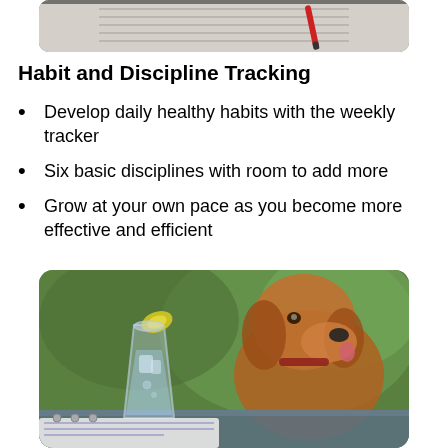[Figure (photo): Top portion of a photo showing a notebook/planner with a red pen, visible at the top of the page]
Habit and Discipline Tracking
Develop daily healthy habits with the weekly tracker
Six basic disciplines with room to add more
Grow at your own pace as you become more effective and efficient
[Figure (photo): Photo of a glass of water with a lemon slice on a table outdoors, with a golden retriever dog in the background and a notebook in the foreground]